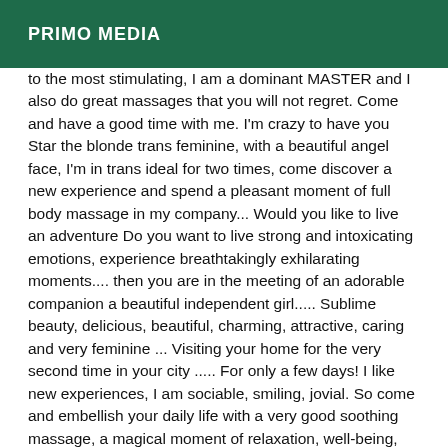PRIMO MEDIA
to the most stimulating, I am a dominant MASTER and I also do great massages that you will not regret. Come and have a good time with me. I'm crazy to have you Star the blonde trans feminine, with a beautiful angel face, I'm in trans ideal for two times, come discover a new experience and spend a pleasant moment of full body massage in my company... Would you like to live an adventure Do you want to live strong and intoxicating emotions, experience breathtakingly exhilarating moments.... then you are in the meeting of an adorable companion a beautiful independent girl..... Sublime beauty, delicious, beautiful, charming, attractive, caring and very feminine ... Visiting your home for the very second time in your city ..... For only a few days! I like new experiences, I am sociable, smiling, jovial. So come and embellish your daily life with a very good soothing massage, a magical moment of relaxation, well-being, escape and relaxation in my company ... And I invite you